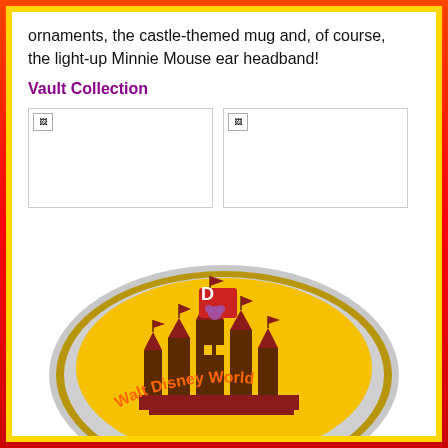ornaments, the castle-themed mug and, of course, the light-up Minnie Mouse ear headband!
Vault Collection
[Figure (photo): Two placeholder images side by side for Vault Collection items]
[Figure (photo): A circular Walt Disney World collector plate/coin with yellow background showing Cinderella Castle in brown and red, with orange text reading Walt Disney World along the bottom rim. A Disney Parks logo is visible at the top of the design.]